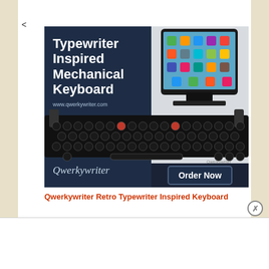<
[Figure (screenshot): Qwerkywriter advertisement banner showing a typewriter-inspired mechanical keyboard with an iPad docked on top. Left dark panel shows text 'Typewriter Inspired Mechanical Keyboard' and 'www.qwerkywriter.com' and Qwerkywriter script logo. Right panel shows the product photo. An 'Order Now' dark button appears in lower right.]
Qwerkywriter Retro Typewriter Inspired Keyboard
Advertisements
[Figure (screenshot): WordPress.com banner advertisement with blue background, WordPress logo, WordPress.com text, and a pink 'Build Your Website' button on the right.]